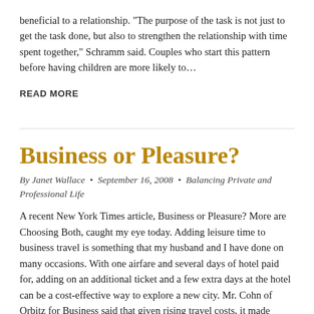beneficial to a relationship. "The purpose of the task is not just to get the task done, but also to strengthen the relationship with time spent together," Schramm said. Couples who start this pattern before having children are more likely to...
READ MORE
Business or Pleasure?
By Janet Wallace • September 16, 2008 • Balancing Private and Professional Life
A recent New York Times article, Business or Pleasure? More are Choosing Both, caught my eye today. Adding leisure time to business travel is something that my husband and I have done on many occasions. With one airfare and several days of hotel paid for, adding on an additional ticket and a few extra days at the hotel can be a cost-effective way to explore a new city. Mr. Cohn of Orbitz for Business said that given rising travel costs, it made sense to tack some family leisure travel onto a business trip in which "part of the cost can...